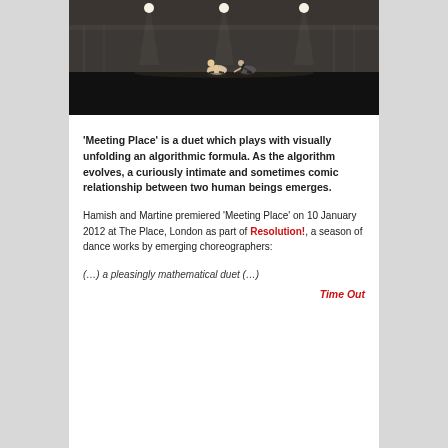[Figure (photo): A dark stage scene showing two dancers crouched low on a reflective black floor, with white curtain backdrop and stage lights visible above]
'Meeting Place' is a duet which plays with visually unfolding an algorithmic formula. As the algorithm evolves, a curiously intimate and sometimes comic relationship between two human beings emerges.
Hamish and Martine premiered 'Meeting Place' on 10 January 2012 at The Place, London as part of Resolution!, a season of dance works by emerging choreographers:
(…) a pleasingly mathematical duet (…)
Time Out